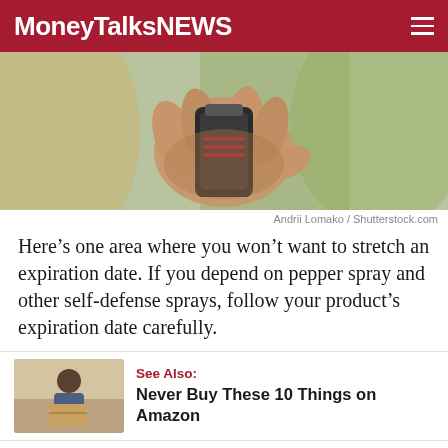MoneyTalksNews
[Figure (photo): Close-up of a hand holding a pepper spray canister outdoors]
Andrii Lomako / Shutterstock.com
Here’s one area where you won’t want to stretch an expiration date. If you depend on pepper spray and other self-defense sprays, follow your product’s expiration date carefully.
See Also: Never Buy These 10 Things on Amazon
Mace, which makes self-defense sprays and repellant